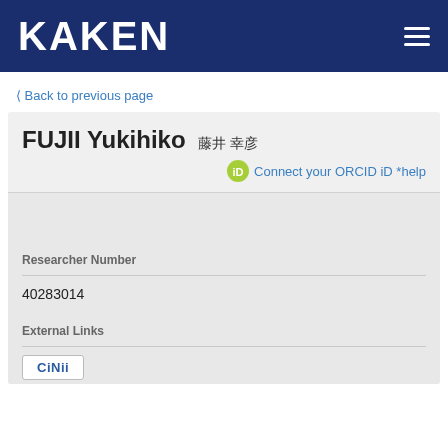KAKEN
Back to previous page
FUJII Yukihiko 藤井 幸彦
Connect your ORCID iD *help
Researcher Number
40283014
External Links
CiNii